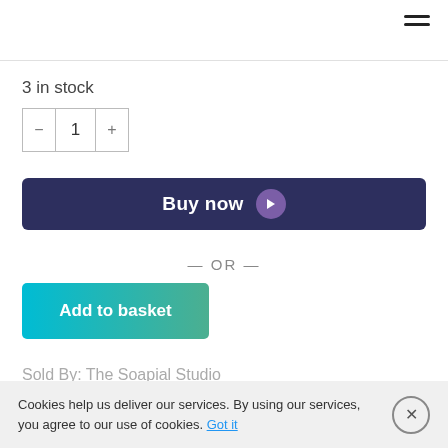3 in stock
1
Buy now
— OR —
Add to basket
Sold By: The Soapial Studio
Cookies help us deliver our services. By using our services, you agree to our use of cookies. Got it